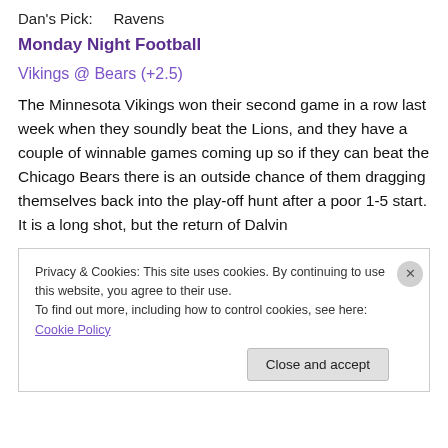Dan's Pick:      Ravens
Monday Night Football
Vikings @ Bears (+2.5)
The Minnesota Vikings won their second game in a row last week when they soundly beat the Lions, and they have a couple of winnable games coming up so if they can beat the Chicago Bears there is an outside chance of them dragging themselves back into the play-off hunt after a poor 1-5 start. It is a long shot, but the return of Dalvin
Privacy & Cookies: This site uses cookies. By continuing to use this website, you agree to their use.
To find out more, including how to control cookies, see here: Cookie Policy
Close and accept